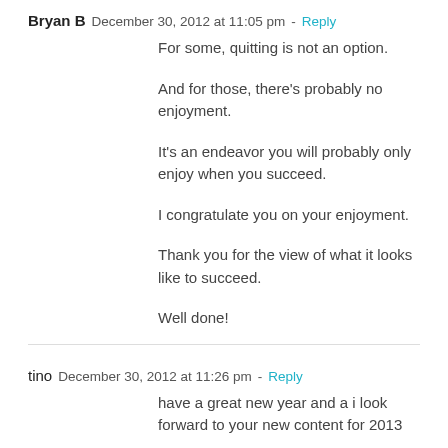Bryan B   December 30, 2012 at 11:05 pm - Reply
For some, quitting is not an option.
And for those, there's probably no enjoyment.
It's an endeavor you will probably only enjoy when you succeed.
I congratulate you on your enjoyment.
Thank you for the view of what it looks like to succeed.
Well done!
tino   December 30, 2012 at 11:26 pm - Reply
have a great new year and a i look forward to your new content for 2013